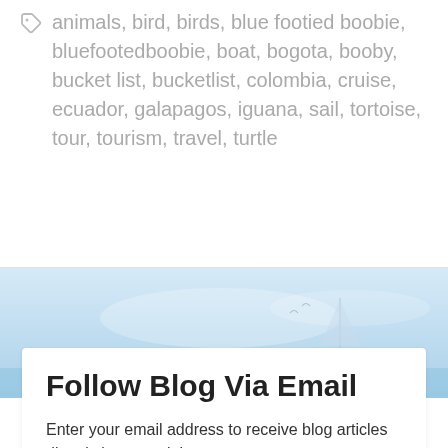animals, bird, birds, blue footied boobie, bluefootedboobie, boat, bogota, booby, bucket list, bucketlist, colombia, cruise, ecuador, galapagos, iguana, sail, tortoise, tour, tourism, travel, turtle
[Figure (photo): Background photo of a light blue sky and sea scene with faint sailboat silhouette]
Follow Blog Via Email
Enter your email address to receive blog articles directly into your inbox.